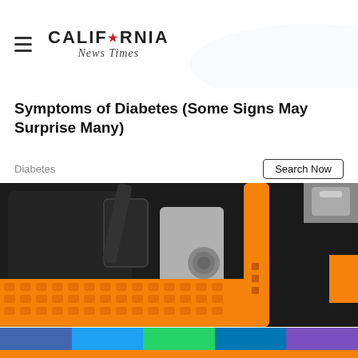California News Times
Symptoms of Diabetes (Some Signs May Surprise Many)
Diabetes
Search Now
[Figure (photo): Close-up photo of an orange car step/running board accessory installed on a vehicle door, with black leather seat interior and steering wheel visible in the background.]
Social sharing bar with Facebook, Twitter, WhatsApp, LinkedIn, YouTube